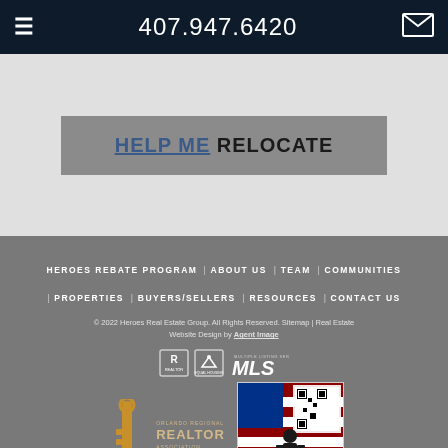407.947.6420
HELP ME RELOCATE
HEROES REBATE PROGRAM | ABOUT US | TEAM | COMMUNITIES | PROPERTIES | BUYERS/SELLERS | RESOURCES | CONTACT US
© 2022 Heroes Real Estate Group. All Rights Reserved. Sitemap | Real Estate Website Design by Agent Image
[Figure (logo): Realtor MLS and Equal Housing logos]
[Figure (logo): Orlando Regional Realtor Association key logo with text]
[Figure (logo): Veteran Owned Business Proud Member badge with American flag and soldier silhouette]